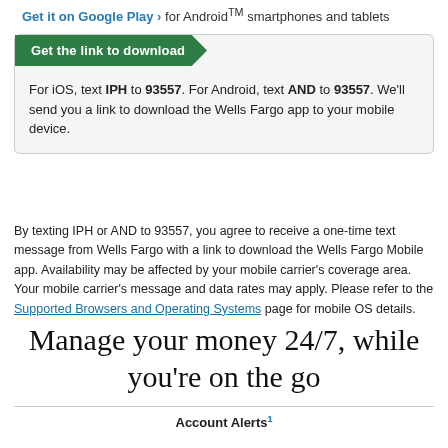Get it on Google Play › for Android™ smartphones and tablets
[Figure (other): Download box with green 'Get the link to download' button and text instructions for downloading Wells Fargo app via SMS]
For iOS, text IPH to 93557. For Android, text AND to 93557. We'll send you a link to download the Wells Fargo app to your mobile device.
By texting IPH or AND to 93557, you agree to receive a one-time text message from Wells Fargo with a link to download the Wells Fargo Mobile app. Availability may be affected by your mobile carrier's coverage area. Your mobile carrier's message and data rates may apply. Please refer to the Supported Browsers and Operating Systems page for mobile OS details.
Manage your money 24/7, while you're on the go
Account Alerts¹